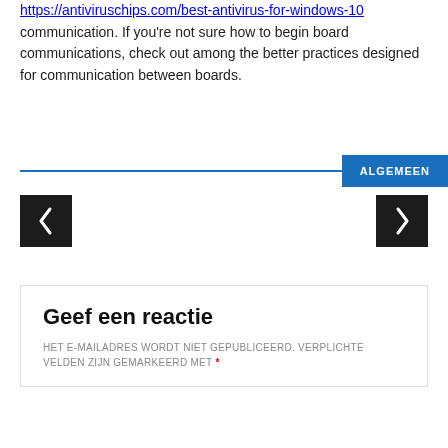https://antiviruschips.com/best-antivirus-for-windows-10 communication. If you're not sure how to begin board communications, check out among the better practices designed for communication between boards.
ALGEMEEN
[Figure (other): Navigation arrows: left arrow (previous) and right arrow (next) on dark square buttons]
Geef een reactie
HET E-MAILADRES WORDT NIET GEPUBLICEERD. VERPLICHTE VELDEN ZIJN GEMARKEERD MET *